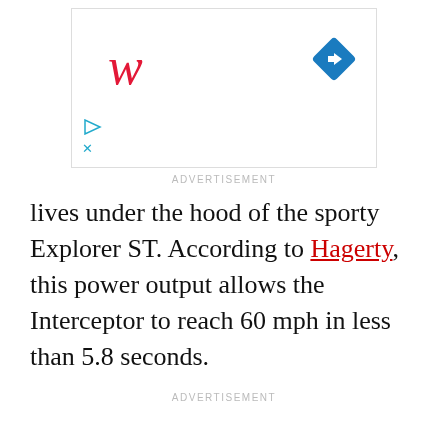[Figure (screenshot): Advertisement banner with Walgreens red italic W logo on left, blue navigation diamond/arrow icon on top right, play triangle icon and close X icon on bottom left. White background with light border.]
ADVERTISEMENT
lives under the hood of the sporty Explorer ST. According to Hagerty, this power output allows the Interceptor to reach 60 mph in less than 5.8 seconds.
ADVERTISEMENT